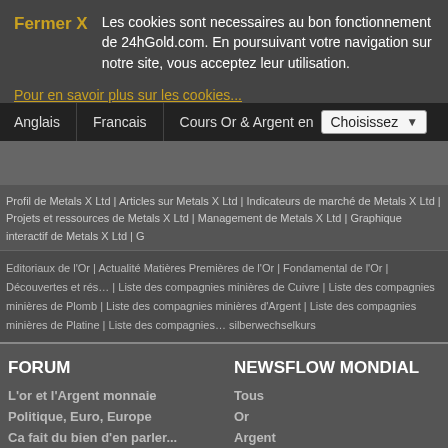Fermer X  Les cookies sont necessaires au bon fonctionnement de 24hGold.com. En poursuivant votre navigation sur notre site, vous acceptez leur utilisation.
Pour en savoir plus sur les cookies...
Anglais | Francais | Cours Or & Argent en Choisissez
Profil de Metals X Ltd | Articles sur Metals X Ltd | Indicateurs de marché de Metals X Ltd | Projets et ressources de Metals X Ltd | Management de Metals X Ltd | Graphique interactif de Metals X Ltd | G
Editoriaux de l'Or | Actualité Matières Premières de l'Or | Fondamental de l'Or | Découvertes et rés... | Liste des compagnies minières de Cuivre | Liste des compagnies minières de Plomb | Liste des compagnies minières d'Argent | Liste des compagnies minières de Platine | Liste des compagnies... silberwechselkurs
FORUM
L'or et l'Argent monnaie
Politique, Euro, Europe
Ca fait du bien d'en parler...
L'Or et l'Argent physique
Ebay, leboncoin, les brocantes
Les actions minières
Les Analyses Techniques
L'Or et l'Argent papier
La numismatique
Economie - Bourse - Immobilier
NEWSFLOW MONDIAL
Tous
Or
Argent
Cuivre
Zinc
PGM & Diamants
Autres métaux
Pétrole et Gaz
Uranium
Sociétés Minières